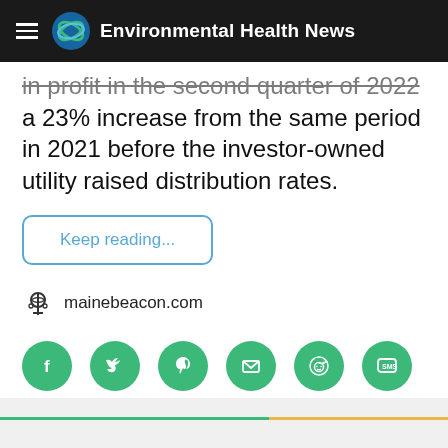Environmental Health News
in profit in the second quarter of 2022 a 23% increase from the same period in 2021 before the investor-owned utility raised distribution rates.
Keep reading...
mainebeacon.com